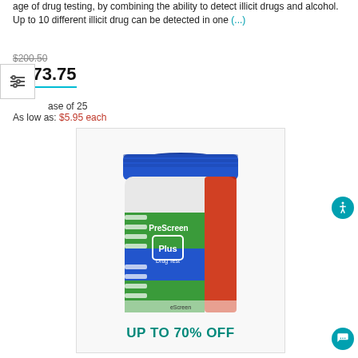age of drug testing, by combining the ability to detect illicit drugs and alcohol. Up to 10 different illicit drug can be detected in one (...)
$200.50
$173.75
ase of 25
As low as: $5.95 each
[Figure (photo): PreScreen Plus Drug Test cup product photo with 'UP TO 70% OFF' text overlay]